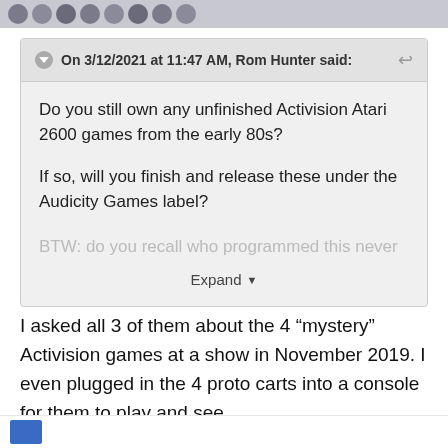On 3/12/2021 at 11:47 AM, Rom Hunter said:
Do you still own any unfinished Activision Atari 2600 games from the early 80s?

If so, will you finish and release these under the Audicity Games label?

BTW: do you recall who programmed this never
Expand
I asked all 3 of them about the 4 “mystery” Activision games at a show in November 2019. I even plugged in the 4 proto carts into a console for them to play and see.